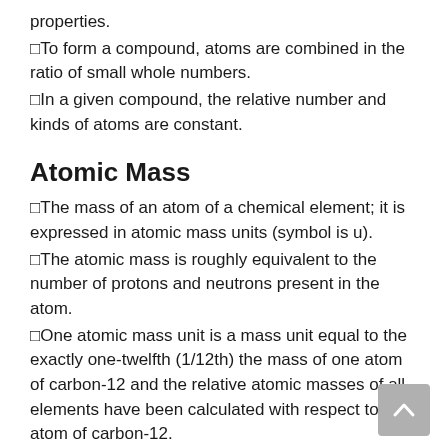properties.
□To form a compound, atoms are combined in the ratio of small whole numbers.
□In a given compound, the relative number and kinds of atoms are constant.
Atomic Mass
□The mass of an atom of a chemical element; it is expressed in atomic mass units (symbol is u).
□The atomic mass is roughly equivalent to the number of protons and neutrons present in the atom.
□One atomic mass unit is a mass unit equal to the exactly one-twelfth (1/12th) the mass of one atom of carbon-12 and the relative atomic masses of all elements have been calculated with respect to an atom of carbon-12.
Molecule
□The smallest particle of an element or a compound, which is capable to exist independently and shows all the properties of the respective